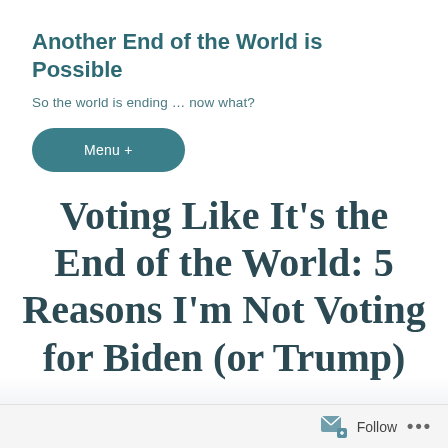Another End of the World is Possible
So the world is ending … now what?
Menu +
Voting Like It’s the End of the World: 5 Reasons I’m Not Voting for Biden (or Trump)
Follow  •••